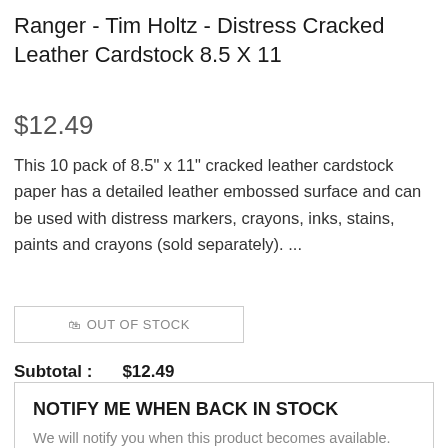Ranger - Tim Holtz - Distress Cracked Leather Cardstock 8.5 X 11
$12.49
This 10 pack of 8.5" x 11" cracked leather cardstock paper has a detailed leather embossed surface and can be used with distress markers, crayons, inks, stains, paints and crayons (sold separately). ...
OUT OF STOCK
Subtotal :        $12.49
NOTIFY ME WHEN BACK IN STOCK
We will notify you when this product becomes available.